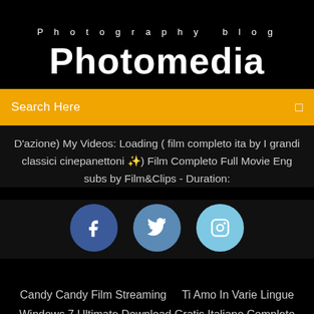Photography blog
Photomedia
Search Here
D'azione) My Videos: Loading ( film completo ita by I grandi classici cinepanettoni ✨) Film Completo Full Movie Eng subs by Film&Clips - Duration:
[Figure (other): Three social media icons: Facebook (dark blue circle with f), Twitter (medium blue circle with bird), Instagram (light blue circle with camera)]
Candy Candy Film Streaming    Ti Amo In Varie Lingue
Windows 7 Ultimate Download Gratis Italiano Completo